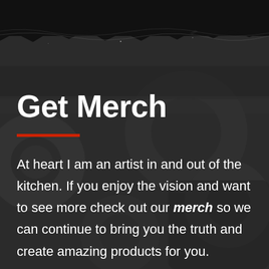[Figure (illustration): Dark textured background with hexagonal/geometric shapes and a torn paper grunge effect at the top edge]
Get Merch
At heart I am an artist in and out of the kitchen. If you enjoy the vision and want to see more check out our merch so we can continue to bring you the truth and create amazing products for you.